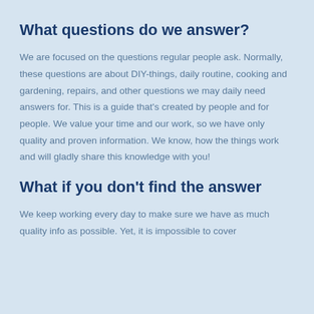What questions do we answer?
We are focused on the questions regular people ask. Normally, these questions are about DIY-things, daily routine, cooking and gardening, repairs, and other questions we may daily need answers for. This is a guide that's created by people and for people. We value your time and our work, so we have only quality and proven information. We know, how the things work and will gladly share this knowledge with you!
What if you don't find the answer
We keep working every day to make sure we have as much quality info as possible. Yet, it is impossible to cover